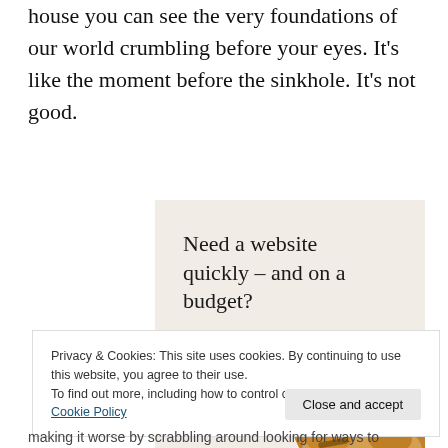house you can see the very foundations of our world crumbling before your eyes. It's like the moment before the sinkhole. It's not good.
[Figure (infographic): Advertisement box with beige background. Headline: 'Need a website quickly – and on a budget?', subheading: 'Let us build it for you', button: 'Let's get started', and a circular photo of a person's hands working on a laptop/tablet.]
Privacy & Cookies: This site uses cookies. By continuing to use this website, you agree to their use.
To find out more, including how to control cookies, see here: Cookie Policy
making it worse by scrabbling around looking for ways to